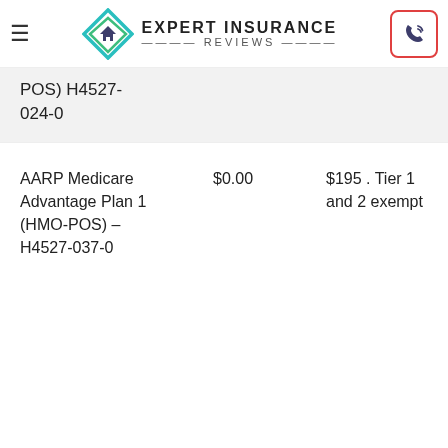[Figure (logo): Expert Insurance Reviews logo with diamond house icon and company name]
POS) H4527-024-0
| Plan | Monthly Premium | Drug Deductible | Drug Coverage |
| --- | --- | --- | --- |
| AARP Medicare Advantage Plan 1 (HMO-POS) – H4527-037-0 | $0.00 | $195. Tier 1 and 2 exempt | No addi gap cove only Don Hole Disc |